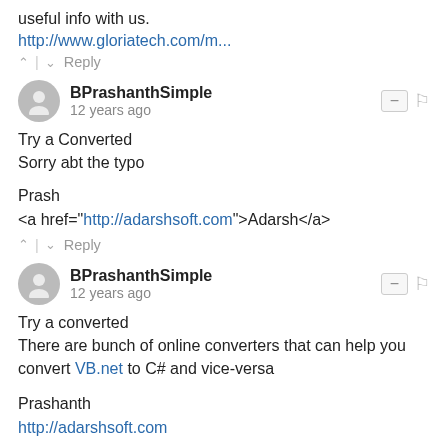useful info with us.
http://www.gloriatech.com/m...
^ | v  Reply
BPrashanthSimple
12 years ago
Try a Converted
Sorry abt the typo

Prash
<a href="http://adarshsoft.com">Adarsh</a>
^ | v  Reply
BPrashanthSimple
12 years ago
Try a converted
There are bunch of online converters that can help you convert VB.net to C# and vice-versa

Prashanth
http://adarshsoft.com